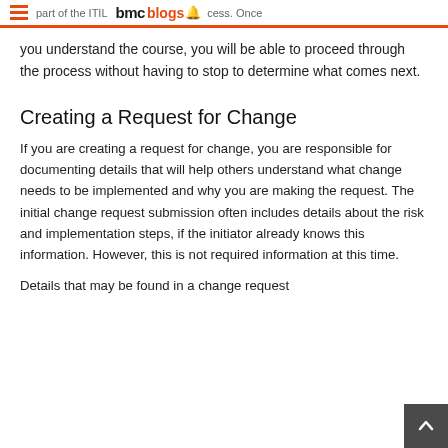bmc blogs — part of the ITIL process. Once
you understand the course, you will be able to proceed through the process without having to stop to determine what comes next.
Creating a Request for Change
If you are creating a request for change, you are responsible for documenting details that will help others understand what change needs to be implemented and why you are making the request. The initial change request submission often includes details about the risk and implementation steps, if the initiator already knows this information. However, this is not required information at this time.
Details that may be found in a change request include: